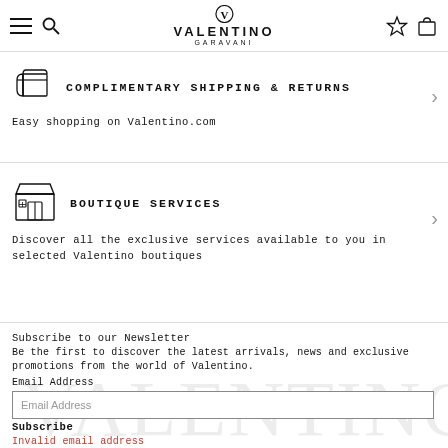VALENTINO GARAVANI — navigation header with menu, search, wishlist, and bag icons
COMPLIMENTARY SHIPPING & RETURNS
Easy shopping on Valentino.com
BOUTIQUE SERVICES
Discover all the exclusive services available to you in selected Valentino boutiques
Subscribe to our Newsletter
Be the first to discover the latest arrivals, news and exclusive promotions from the world of Valentino.
Email Address
Subscribe
Invalid email address
The email address field is required